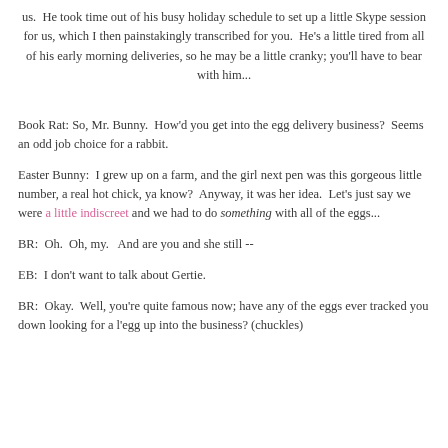us.  He took time out of his busy holiday schedule to set up a little Skype session for us, which I then painstakingly transcribed for you.  He's a little tired from all of his early morning deliveries, so he may be a little cranky; you'll have to bear with him...
Book Rat: So, Mr. Bunny.  How'd you get into the egg delivery business?  Seems an odd job choice for a rabbit.
Easter Bunny:  I grew up on a farm, and the girl next pen was this gorgeous little number, a real hot chick, ya know?  Anyway, it was her idea.  Let's just say we were a little indiscreet and we had to do something with all of the eggs...
BR:  Oh.  Oh, my.   And are you and she still --
EB:  I don't want to talk about Gertie.
BR:  Okay.  Well, you're quite famous now; have any of the eggs ever tracked you down looking for a l'egg up into the business? (chuckles)